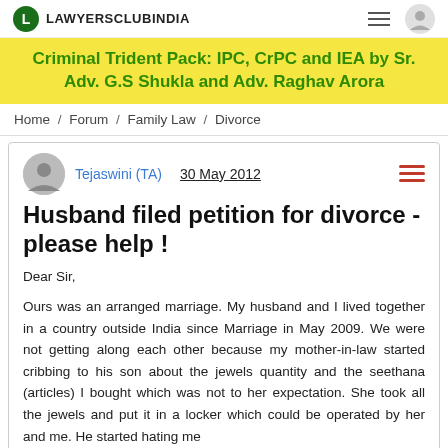LAWYERSCLUBINDIA
[Figure (infographic): Yellow banner advertisement: Criminal Trident Pack: IPC, CrPC and IEA by Sr. Adv. G.S Shukla and Adv. Raghav Arora]
Home / Forum / Family Law / Divorce
Tejaswini (TA)   30 May 2012
Husband filed petition for divorce - please help !
Dear Sir,
Ours was an arranged marriage. My husband and I lived together in a country outside India since Marriage in May 2009. We were not getting along each other because my mother-in-law started cribbing to his son about the jewels quantity and the seethana (articles) I bought which was not to her expectation. She took all the jewels and put it in a locker which could be operated by her and me. He started hating me